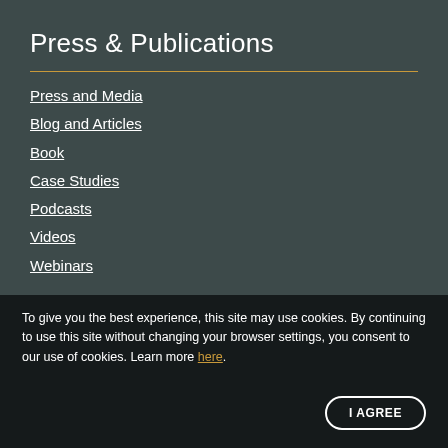Press & Publications
Press and Media
Blog and Articles
Book
Case Studies
Podcasts
Videos
Webinars
To give you the best experience, this site may use cookies. By continuing to use this site without changing your browser settings, you consent to our use of cookies. Learn more here.
I AGREE